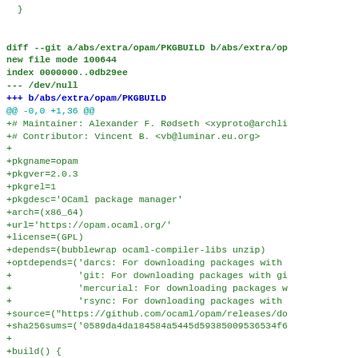}

diff --git a/abs/extra/opam/PKGBUILD b/abs/extra/op
new file mode 100644
index 0000000..0db29ee
--- /dev/null
+++ b/abs/extra/opam/PKGBUILD
@@ -0,0 +1,36 @@
+# Maintainer: Alexander F. Rødseth <xyproto@archli
+# Contributor: Vincent B. <vb@luminar.eu.org>
+
+pkgname=opam
+pkgver=2.0.3
+pkgrel=1
+pkgdesc='OCaml package manager'
+arch=(x86_64)
+url='https://opam.ocaml.org/'
+license=(GPL)
+depends=(bubblewrap ocaml-compiler-libs unzip)
+optdepends=('darcs: For downloading packages with
+            'git: For downloading packages with gi
+            'mercurial: For downloading packages w
+            'rsync: For downloading packages with
+source=("https://github.com/ocaml/opam/releases/do
+sha256sums=('0589da4da184584a5445d59385009536534f6
+
+build() {
+  cd "opam-full-$pkgver"